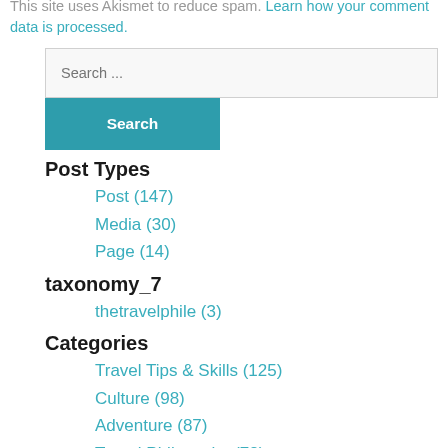This site uses Akismet to reduce spam. Learn how your comment data is processed.
Search ...
Post Types
Post (147)
Media (30)
Page (14)
taxonomy_7
thetravelphile (3)
Categories
Travel Tips & Skills (125)
Culture (98)
Adventure (87)
Travel Philosophy (78)
The Great Outdoors (66)